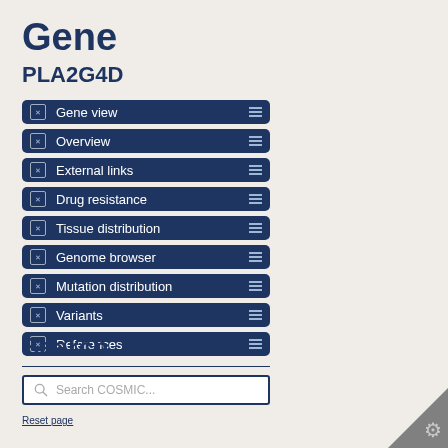Gene
PLA2G4D
Gene view
Overview
External links
Drug resistance
Tissue distribution
Genome browser
Mutation distribution
Variants
References
Reset page
Search
Search COSMIC...